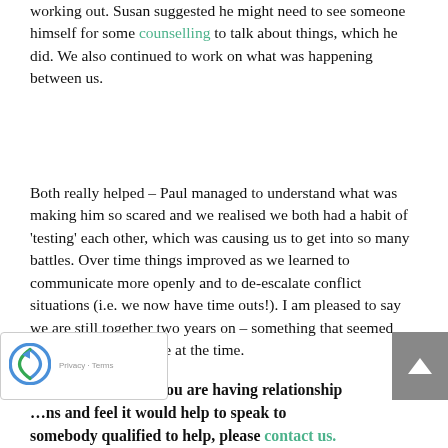working out. Susan suggested he might need to see someone himself for some counselling to talk about things, which he did. We also continued to work on what was happening between us.
Both really helped – Paul managed to understand what was making him so scared and we realised we both had a habit of 'testing' each other, which was causing us to get into so many battles. Over time things improved as we learned to communicate more openly and to de-escalate conflict situations (i.e. we now have time outs!). I am pleased to say we are still together two years on – something that seemed impossible to envisage at the time.
Like Joanne and Paul, you are having relationship problems and feel it would help to speak to somebody qualified to help, please contact us.